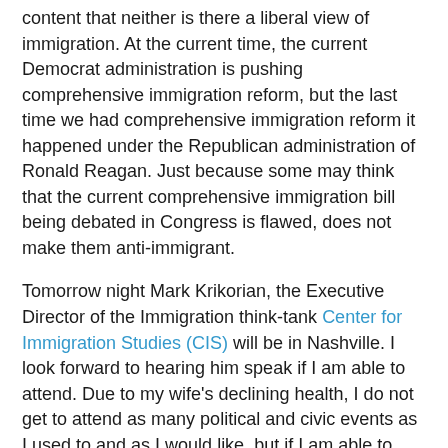content that neither is there a liberal view of immigration. At the current time, the current Democrat administration is pushing comprehensive immigration reform, but the last time we had comprehensive immigration reform it happened under the Republican administration of Ronald Reagan. Just because some may think that the current comprehensive immigration bill being debated in Congress is flawed, does not make them anti-immigrant.
Tomorrow night Mark Krikorian, the Executive Director of the Immigration think-tank Center for Immigration Studies (CIS) will be in Nashville. I look forward to hearing him speak if I am able to attend. Due to my wife's declining health, I do not get to attend as many political and civic events as I used to and as I would like, but if I am able to attend, I plan to.  If you can attend I encourage you to do so.
CIS takes the position that America would be better served by less immigration. That may be thought of a "conservative" position by some.  However, organized labor, a major component of the Democrat coalition, also tends to take a similar position. CIS says of itself, "Our board, our staff, our